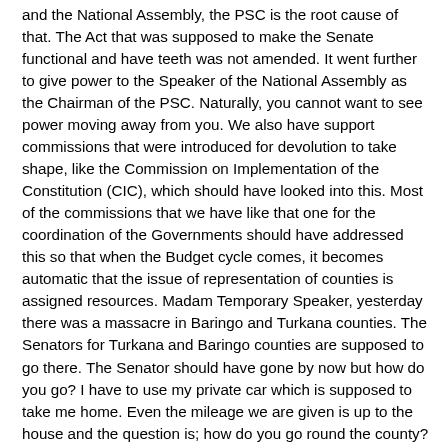and the National Assembly, the PSC is the root cause of that. The Act that was supposed to make the Senate functional and have teeth was not amended. It went further to give power to the Speaker of the National Assembly as the Chairman of the PSC. Naturally, you cannot want to see power moving away from you. We also have support commissions that were introduced for devolution to take shape, like the Commission on Implementation of the Constitution (CIC), which should have looked into this. Most of the commissions that we have like that one for the coordination of the Governments should have addressed this so that when the Budget cycle comes, it becomes automatic that the issue of representation of counties is assigned resources. Madam Temporary Speaker, yesterday there was a massacre in Baringo and Turkana counties. The Senators for Turkana and Baringo counties are supposed to go there. The Senator should have gone by now but how do you go? I have to use my private car which is supposed to take me home. Even the mileage we are given is up to the house and the question is; how do you go round the county? I have a county that is above 9000 square kilometres. This is a very unique and peculiar county because it has many hills. I make fun of the people from Mt. Kenya that they have only one mountain which is 17,000 feet above sea level and the second tallest one in Kenya